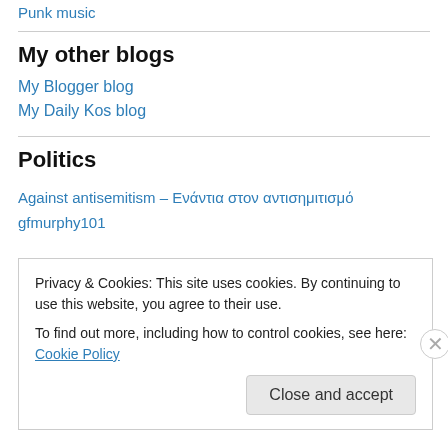Punk music
My other blogs
My Blogger blog
My Daily Kos blog
Politics
Against antisemitism – Ενάντια στον αντισημιτισμό
gfmurphy101
Privacy & Cookies: This site uses cookies. By continuing to use this website, you agree to their use.
To find out more, including how to control cookies, see here: Cookie Policy
Close and accept